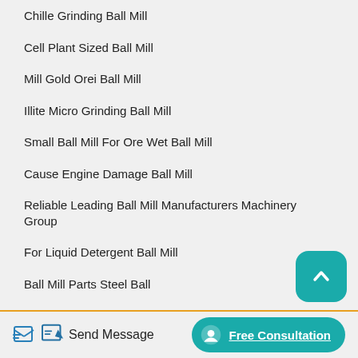Chille Grinding Ball Mill
Cell Plant Sized Ball Mill
Mill Gold Orei Ball Mill
Illite Micro Grinding Ball Mill
Small Ball Mill For Ore Wet Ball Mill
Cause Engine Damage Ball Mill
Reliable Leading Ball Mill Manufacturers Machinery Group
For Liquid Detergent Ball Mill
Ball Mill Parts Steel Ball
Mill Aluminum Ball Mill
(partially visible item at bottom)
Send Message | Free Consultation